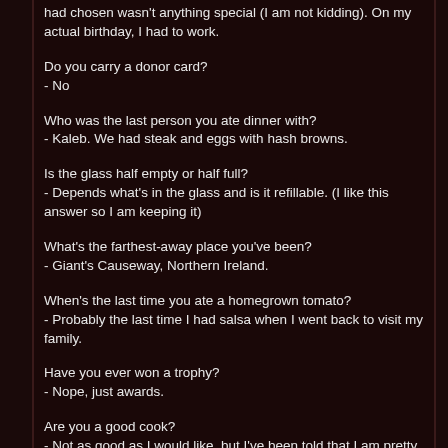had chosen wasn't anything special (I am not kidding). On my actual birthday, I had to work.
Do you carry a donor card?
- No
Who was the last person you ate dinner with?
- Kaleb. We had steak and eggs with hash browns.
Is the glass half empty or half full?
- Depends what's in the glass and is it refillable. (I like this answer so I am keeping it)
What's the farthest-away place you've been?
- Giant's Causeway, Northern Ireland.
When's the last time you ate a homegrown tomato?
- Probably the last time I had salsa when I went back to visit my family.
Have you ever won a trophy?
- Nope, just awards.
Are you a good cook?
- Not as good as I would like, but I've been told that I am pretty good.
Do you know how to pump your own gas?
- Yes. There are people that don't?